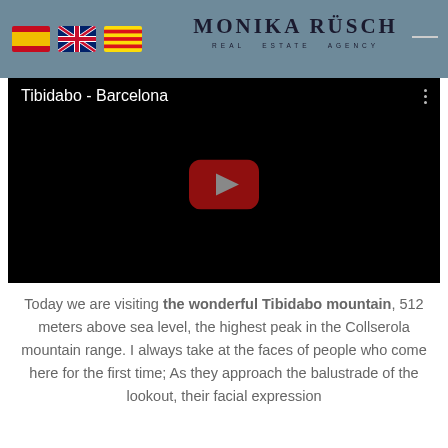Monika Rüsch Real Estate Agency
[Figure (screenshot): YouTube video embed showing 'Tibidabo - Barcelona' with black background and red play button]
Today we are visiting the wonderful Tibidabo mountain, 512 meters above sea level, the highest peak in the Collserola mountain range. I always take at the faces of people who come here for the first time; As they approach the balustrade of the lookout, their facial expression